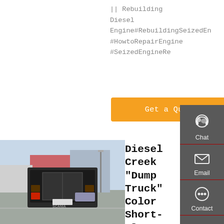|| Rebuilding Diesel Engine#RebuildingSeizedEn #HowtoRepairEngine #SeizedEngineRe
[Figure (other): Orange 'Get a Quote' button]
[Figure (photo): Rear view of a large semi-truck/diesel truck in a parking lot with commercial buildings in the background]
Diesel Creek "Dump Truck" Color Short-Sleeve Unisex Shirt
Short sleeve uni-sex t-shirt featuring the Diesel Creek "Dump
[Figure (infographic): Right sidebar with Chat, Email, Contact, and Top navigation buttons on dark gray background]